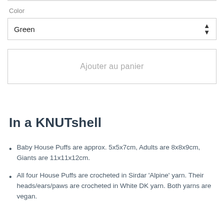Color
Green
Ajouter au panier
In a KNUTshell
Baby House Puffs are approx. 5x5x7cm, Adults are 8x8x9cm, Giants are 11x11x12cm.
All four House Puffs are crocheted in Sirdar 'Alpine' yarn. Their heads/ears/paws are crocheted in White DK yarn. Both yarns are vegan.